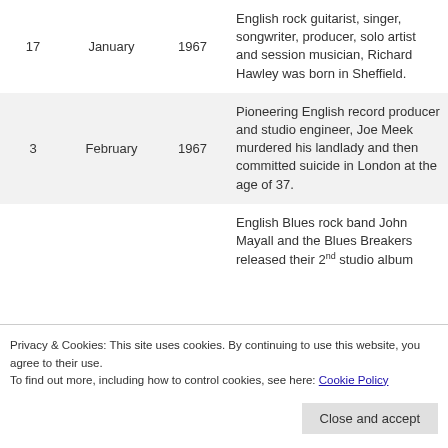| Day | Month | Year | Description |
| --- | --- | --- | --- |
| 17 | January | 1967 | English rock guitarist, singer, songwriter, producer, solo artist and session musician, Richard Hawley was born in Sheffield. |
| 3 | February | 1967 | Pioneering English record producer and studio engineer, Joe Meek murdered his landlady and then committed suicide in London at the age of 37. |
|  |  |  | English Blues rock band John Mayall and the Blues Breakers released their 2nd studio album |
Privacy & Cookies: This site uses cookies. By continuing to use this website, you agree to their use.
To find out more, including how to control cookies, see here: Cookie Policy
Close and accept